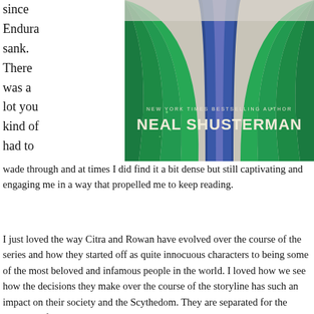since Endura sank. There was a lot you kind of had to wade through and at times I did find it a bit dense but still captivating and engaging me in a way that propelled me to keep reading.
[Figure (photo): Book cover of a Neal Shusterman novel showing green and purple flowing fabric with 'NEW YORK TIMES BESTSELLING AUTHOR' and 'NEAL SHUSTERMAN' in large text]
I just loved the way Citra and Rowan have evolved over the course of the series and how they started off as quite innocuous characters to being some of the most beloved and infamous people in the world. I loved how we see how the decisions they make over the course of the storyline has such an impact on their society and the Scythedom. They are separated for the majority of